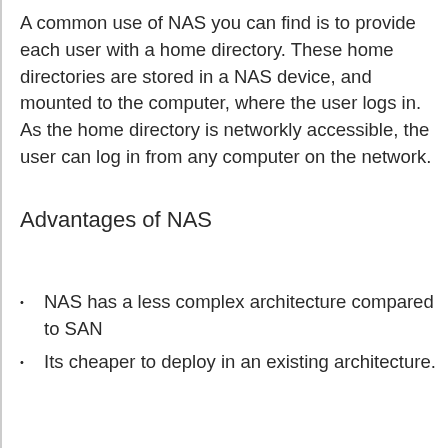A common use of NAS you can find is to provide each user with a home directory. These home directories are stored in a NAS device, and mounted to the computer, where the user logs in. As the home directory is networkly accessible, the user can log in from any computer on the network.
Advantages of NAS
NAS has a less complex architecture compared to SAN
Its cheaper to deploy in an existing architecture.